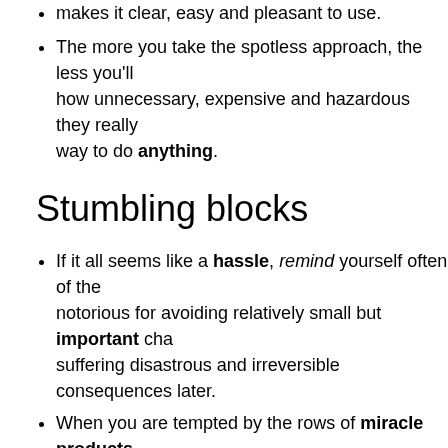makes it clear, easy and pleasant to use.
The more you take the spotless approach, the less you'll how unnecessary, expensive and hazardous they really way to do anything.
Stumbling blocks
If it all seems like a hassle, remind yourself often of the notorious for avoiding relatively small but important cha suffering disastrous and irreversible consequences later.
When you are tempted by the rows of miracle products too. Little is known, and much less disclosed, about their provide rich information (and links to more) on the often spotlessly. Empower yourself with knowledge and put yo health and environment into the hands of companies dri
If you miss the artificial smells of commercial cleaners, a prevents headaches and is antiseptic) or rose for a true